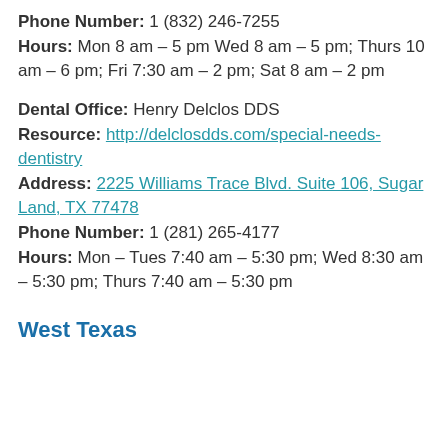Phone Number: 1 (832) 246-7255
Hours: Mon 8 am – 5 pm Wed 8 am – 5 pm; Thurs 10 am – 6 pm; Fri 7:30 am – 2 pm; Sat 8 am – 2 pm
Dental Office: Henry Delclos DDS
Resource: http://delclosdds.com/special-needs-dentistry
Address: 2225 Williams Trace Blvd. Suite 106, Sugar Land, TX 77478
Phone Number: 1 (281) 265-4177
Hours: Mon – Tues 7:40 am – 5:30 pm; Wed 8:30 am – 5:30 pm; Thurs 7:40 am – 5:30 pm
West Texas